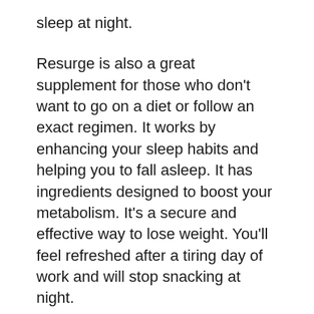sleep at night.
Resurge is also a great supplement for those who don’t want to go on a diet or follow an exact regimen. It works by enhancing your sleep habits and helping you to fall asleep. It has ingredients designed to boost your metabolism. It’s a secure and effective way to lose weight. You’ll feel refreshed after a tiring day of work and will stop snacking at night.
Resurge is available for purchase on its official website. It is crucial to be cautious when purchasing Resurge as it may alter the composition of other drugs. It is recommended to be sure to read the label before purchasing the supplement. If you’re